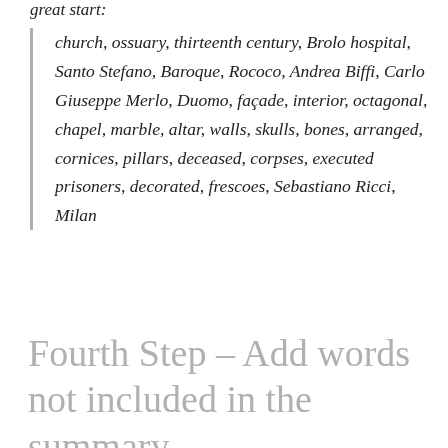great start:
church, ossuary, thirteenth century, Brolo hospital, Santo Stefano, Baroque, Rococo, Andrea Biffi, Carlo Giuseppe Merlo, Duomo, façade, interior, octagonal, chapel, marble, altar, walls, skulls, bones, arranged, cornices, pillars, deceased, corpses, executed prisoners, decorated, frescoes, Sebastiano Ricci, Milan
Fourth Step – Add words not included in the summary